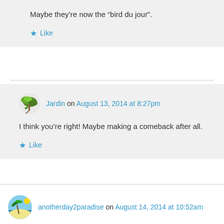Maybe they’re now the “bird du jour”.
Like
Jardin on August 13, 2014 at 8:27pm
I think you’re right! Maybe making a comeback after all.
Like
anotherday2paradise on August 14, 2014 at 10:52am
Very interesting info about the peacock feather